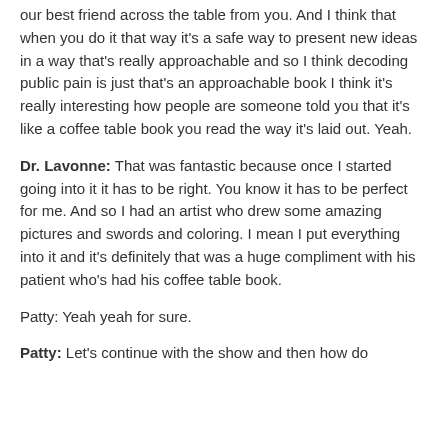our best friend across the table from you. And I think that when you do it that way it's a safe way to present new ideas in a way that's really approachable and so I think decoding public pain is just that's an approachable book I think it's really interesting how people are someone told you that it's like a coffee table book you read the way it's laid out. Yeah.
Dr. Lavonne: That was fantastic because once I started going into it it has to be right. You know it has to be perfect for me. And so I had an artist who drew some amazing pictures and swords and coloring. I mean I put everything into it and it's definitely that was a huge compliment with his patient who's had his coffee table book.
Patty: Yeah yeah for sure.
Patty: Let's continue with the show and then how do